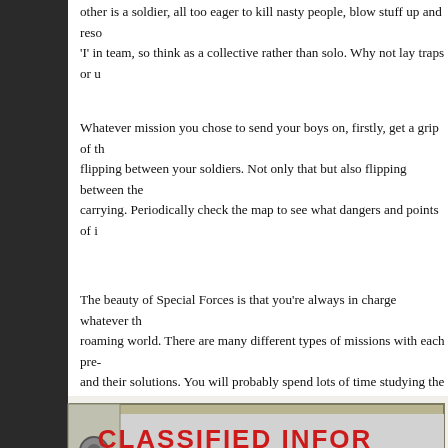other is a soldier, all too eager to kill nasty people, blow stuff up and reso... 'I' in team, so think as a collective rather than solo. Why not lay traps or u...
Whatever mission you chose to send your boys on, firstly, get a grip of th... flipping between your soldiers. Not only that but also flipping between the... carrying. Periodically check the map to see what dangers and points of i...
The beauty of Special Forces is that you're always in charge whatever th... roaming world. There are many different types of missions with each pre... and their solutions. You will probably spend lots of time studying the map...
[Figure (screenshot): Screenshot of a video game showing a 'CLASSIFIED INFO' screen with MISSION 1 briefing text in monospace font on a grey background with a tan/khaki border.]